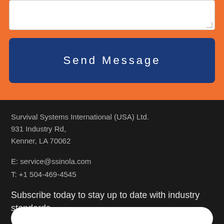[Figure (other): Text area input field (white box, partially visible at top)]
Send Message
Survival Systems International (USA) Ltd.
931 Industry Rd,
Kenner, LA 70062
E: service@ssinola.com
T: +1 504-469-4545
Subscribe today to stay up to date with industry standards.